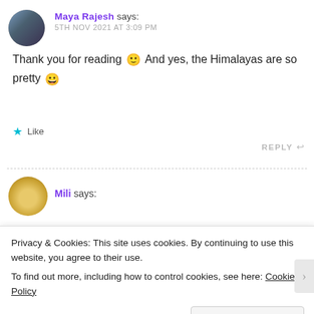[Figure (photo): Circular avatar photo of Maya Rajesh, showing a person against a mountainous background]
Maya Rajesh says:
5TH NOV 2021 AT 3:09 PM
Thank you for reading 🙂 And yes, the Himalayas are so pretty 😀
Like
REPLY
[Figure (photo): Circular avatar photo of Mili, showing a person with a sun hat]
Mili says:
Privacy & Cookies: This site uses cookies. By continuing to use this website, you agree to their use. To find out more, including how to control cookies, see here: Cookie Policy
Close and accept